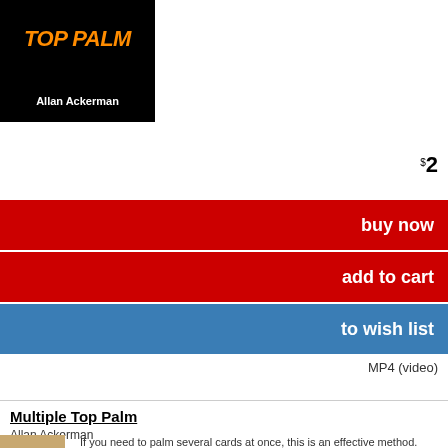[Figure (illustration): Book cover for 'Multiple Top Palm' by Allan Ackerman — black background with orange bold italic text 'TOP PALM' and white author name below]
$2
buy now
add to cart
to wish list
MP4 (video)
Multiple Top Palm
Allan Ackerman
[Figure (photo): Photo of Allan Ackerman]
If you need to palm several cards at once, this is an effective method. Originally this was a one-bi